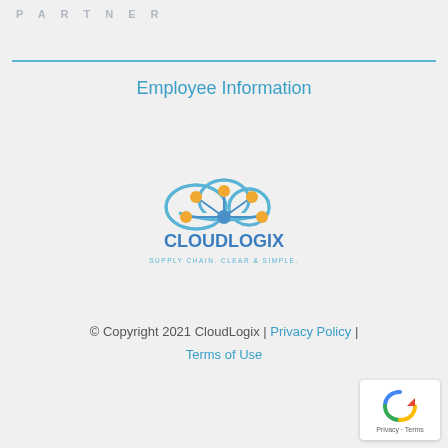PARTNER
Employee Information
[Figure (logo): CloudLogix logo with cloud icon and nodes, text: CLOUDLOGIX SUPPLY CHAIN. CLEAR & SIMPLE.]
© Copyright 2021 CloudLogix | Privacy Policy | Terms of Use